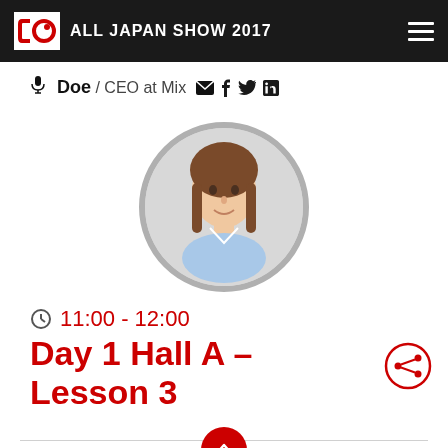ALL JAPAN SHOW 2017
🎤 Doe / CEO at Mix
[Figure (photo): Circular profile photo of a professional woman with brown hair, wearing a light blue shirt, set against a grey circular border]
🕐 11:00 - 12:00
Day 1 Hall A – Lesson 3
Lorem ipsum dolor sit amet, consectetur adipiscing